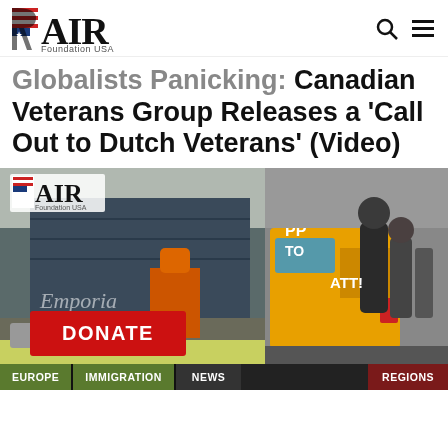RAIR Foundation USA
Globalists Panicking: Canadian Veterans Group Releases a 'Call Out to Dutch Veterans' (Video)
[Figure (photo): Composite image with RAIR Foundation USA logo overlay on left side showing an industrial building and vehicles, and right side showing people near a yellow van with text 'PP', 'TO', 'ATT!' visible. A red DONATE button appears in the lower left. Navigation bar at bottom shows EUROPE, IMMIGRATION, NEWS, REGIONS.]